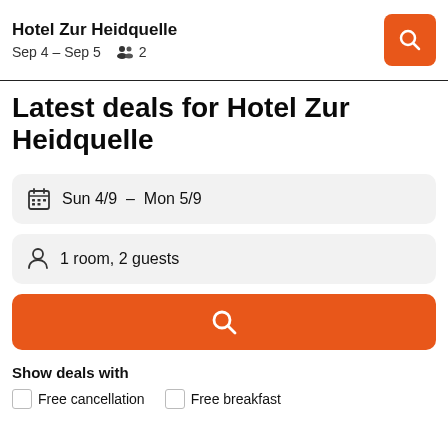Hotel Zur Heidquelle  Sep 4 – Sep 5  2
Latest deals for Hotel Zur Heidquelle
Sun 4/9 – Mon 5/9
1 room, 2 guests
Show deals with
Free cancellation  Free breakfast